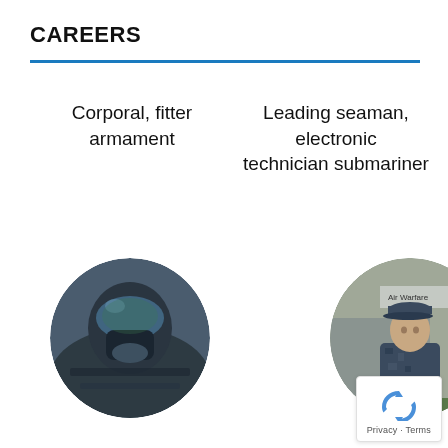CAREERS
Corporal, fitter armament
Leading seaman, electronic technician submariner
[Figure (photo): Circular photo of a person in military flight gear with helmet and oxygen mask, inside an aircraft cockpit]
[Figure (photo): Circular photo of a person in navy camouflage uniform standing outdoors, with an 'Air Warfare' sign visible in background]
Privacy · Terms